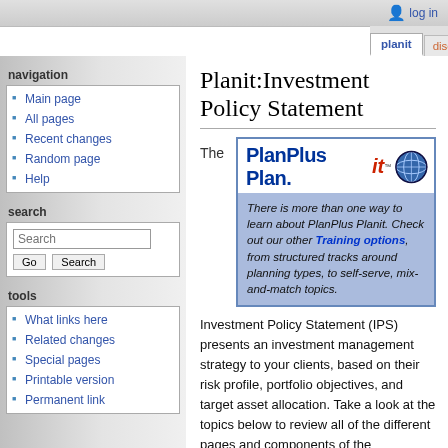log in
planit | discussion | view source | histo...
Planit:Investment Policy Statement
[Figure (infographic): PlanPlus Plan.it logo with globe icon, and a blue info box: 'There is more than one way to learn about PlanPlus Planit. Check out our other Training options, from structured tracks around planning types, to self-serve, mix-and-match topics.']
The
Investment Policy Statement (IPS) presents an investment management strategy to your clients, based on their risk profile, portfolio objectives, and target asset allocation. Take a look at the topics below to review all of the different pages and components of the Investment Policy Statement to understand how to interpret and present them to your
Main page
All pages
Recent changes
Random page
Help
What links here
Related changes
Special pages
Printable version